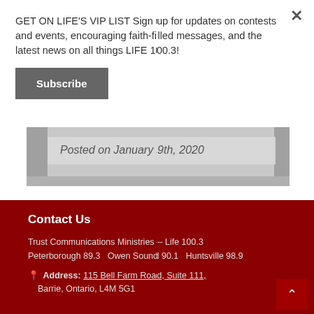GET ON LIFE'S VIP LIST Sign up for updates on contests and events, encouraging faith-filled messages, and the latest news on all things LIFE 100.3!
Subscribe
[Figure (photo): Stone/brick wall background with overlay text reading 'Posted on January 9th, 2020']
Contact Us
Trust Communications Ministries – Life 100.3
Peterborough 89.3   Owen Sound 90.1   Huntsville 98.9
Address: 115 Bell Farm Road, Suite 111, Barrie, Ontario, L4M 5G1